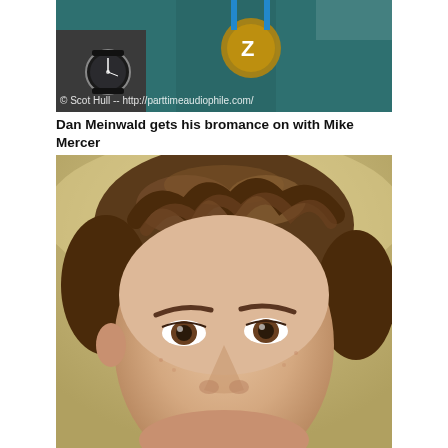[Figure (photo): A photo showing two men, one wearing a watch and a conference lanyard with a gold logo, and a teal shirt. Watermark text reads: © Scot Hull -- http://parttimeaudiophile.com/]
Dan Meinwald gets his bromance on with Mike Mercer
[Figure (photo): Close-up portrait photo of a young man with curly brown hair, smiling, against a blurred light background.]